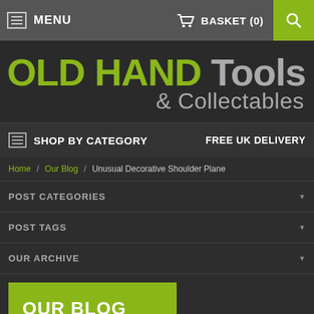MENU | BASKET (0) | Search
OLD HAND Tools & Collectables
SHOP BY CATEGORY | FREE UK DELIVERY
Home / Our Blog / Unusual Decorative Shoulder Plane
POST CATEGORIES
POST TAGS
OUR ARCHIVE
OUR BLOG